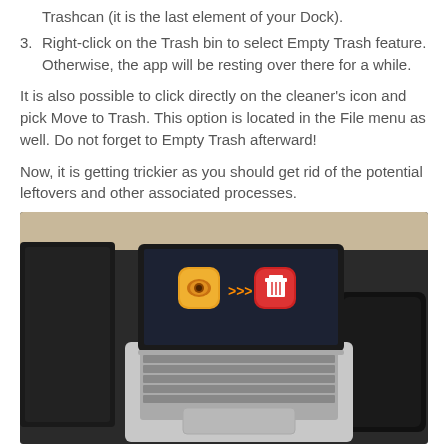Trashcan (it is the last element of your Dock).
3. Right-click on the Trash bin to select Empty Trash feature. Otherwise, the app will be resting over there for a while.
It is also possible to click directly on the cleaner's icon and pick Move to Trash. This option is located in the File menu as well. Do not forget to Empty Trash afterward!
Now, it is getting trickier as you should get rid of the potential leftovers and other associated processes.
[Figure (photo): Overhead view of a MacBook laptop on a dark leather desk with a smartphone on the left and a tablet on the right. The laptop screen shows an app icon (gold/orange) with arrows pointing to a red trash icon, illustrating moving an app to trash.]